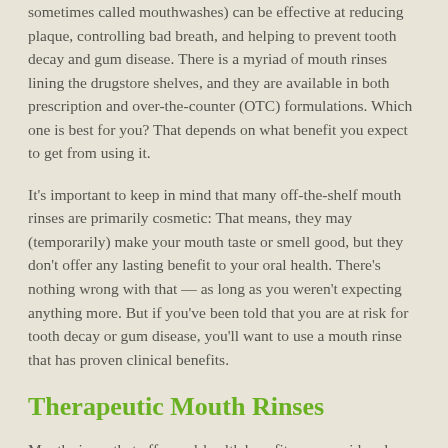sometimes called mouthwashes) can be effective at reducing plaque, controlling bad breath, and helping to prevent tooth decay and gum disease. There is a myriad of mouth rinses lining the drugstore shelves, and they are available in both prescription and over-the-counter (OTC) formulations. Which one is best for you? That depends on what benefit you expect to get from using it.
It's important to keep in mind that many off-the-shelf mouth rinses are primarily cosmetic: That means, they may (temporarily) make your mouth taste or smell good, but they don't offer any lasting benefit to your oral health. There's nothing wrong with that — as long as you weren't expecting anything more. But if you've been told that you are at risk for tooth decay or gum disease, you'll want to use a mouth rinse that has proven clinical benefits.
Therapeutic Mouth Rinses
Mouth rinses that offer oral-health benefits are considered therapeutic. These fall into two general categories: anti-cariogenic rinses, which are designed to prevent tooth decay (and thus dental caries, or "cavities"); and anti-bacterial rinses